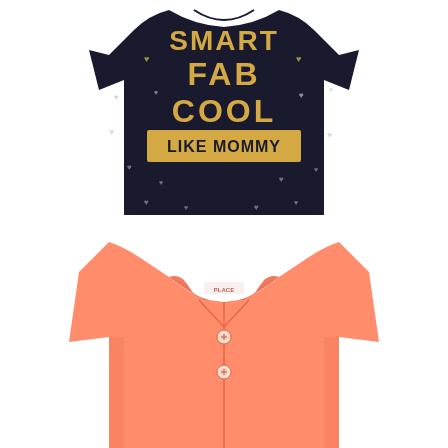[Figure (photo): Black children's t-shirt with gold glitter text reading 'SMART FAB COOL LIKE MOMMY' and small heart print pattern throughout the fabric]
[Figure (photo): Coral/salmon colored children's polo shirt with collar and two buttons at the neckline, shown flat lay on white background]